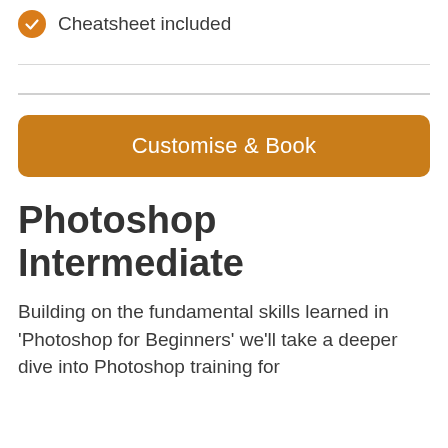Cheatsheet included
Customise & Book
Photoshop Intermediate
Building on the fundamental skills learned in 'Photoshop for Beginners' we'll take a deeper dive into Photoshop training for